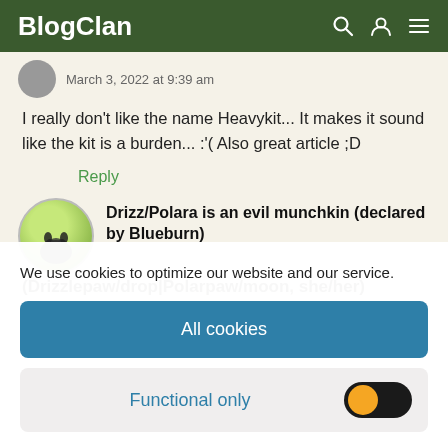BlogClan
March 3, 2022 at 9:39 am
I really don't like the name Heavykit... It makes it sound like the kit is a burden... :'( Also great article ;D
Reply
Drizz/Polara is an evil munchkin (declared by Blueburn) (Drizzlepaw/drop|Polarpaw/moon, she/her)
We use cookies to optimize our website and our service.
All cookies
Functional only